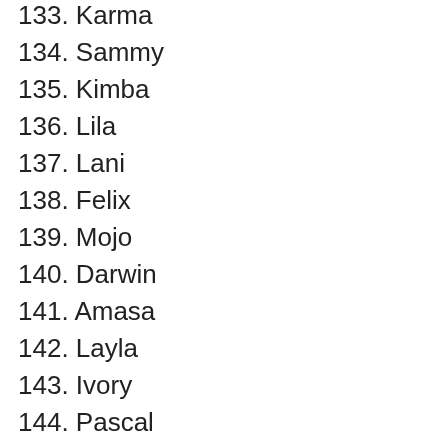133. Karma
134. Sammy
135. Kimba
136. Lila
137. Lani
138. Felix
139. Mojo
140. Darwin
141. Amasa
142. Layla
143. Ivory
144. Pascal
145. Ziggy
146. Iggy
147. Spyro